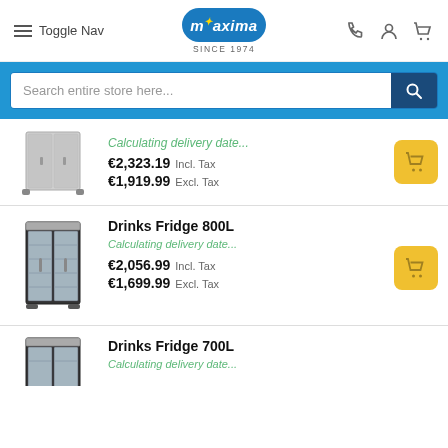Toggle Nav | Maxima SINCE 1974
Search entire store here...
Calculating delivery date... €2,323.19 Incl. Tax €1,919.99 Excl. Tax
Drinks Fridge 800L
Calculating delivery date... €2,056.99 Incl. Tax €1,699.99 Excl. Tax
Drinks Fridge 700L
Calculating delivery date...